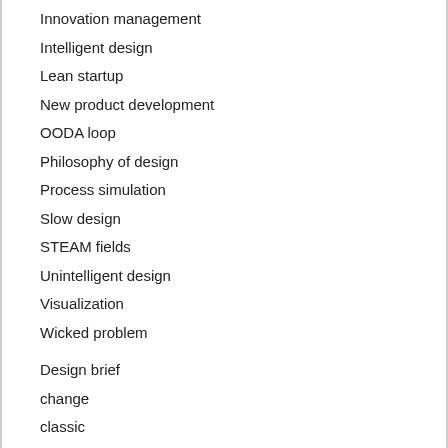Innovation management
Intelligent design
Lean startup
New product development
OODA loop
Philosophy of design
Process simulation
Slow design
STEAM fields
Unintelligent design
Visualization
Wicked problem
Design brief
change
classic
competition
architectural
student